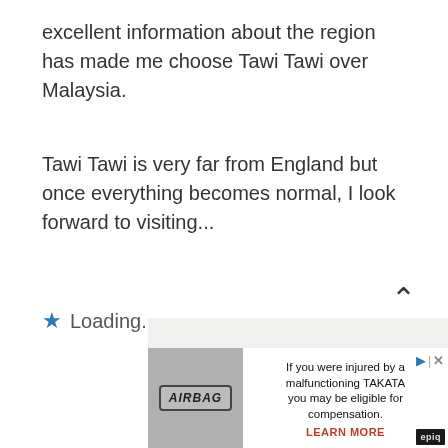excellent information about the region has made me choose Tawi Tawi over Malaysia.
Tawi Tawi is very far from England but once everything becomes normal, I look forward to visiting...
★ Loading...
[Figure (screenshot): Advertisement banner showing an airbag image with text: 'If you were injured by a malfunctioning TAKATA you may be eligible for compensation. LEARN MORE' with epio branding and close/play icons.]